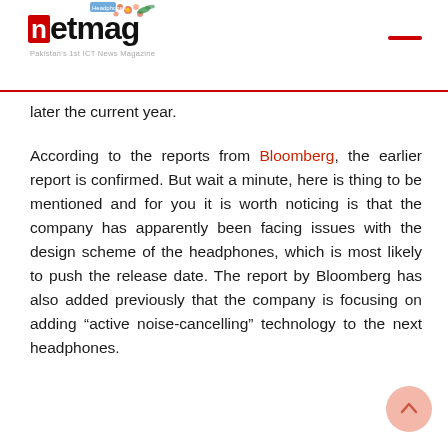netmag — Pakistan's 1st ICT News Magazine
later the current year.
According to the reports from Bloomberg, the earlier report is confirmed. But wait a minute, here is thing to be mentioned and for you it is worth noticing is that the company has apparently been facing issues with the design scheme of the headphones, which is most likely to push the release date. The report by Bloomberg has also added previously that the company is focusing on adding “active noise-cancelling” technology to the next headphones.